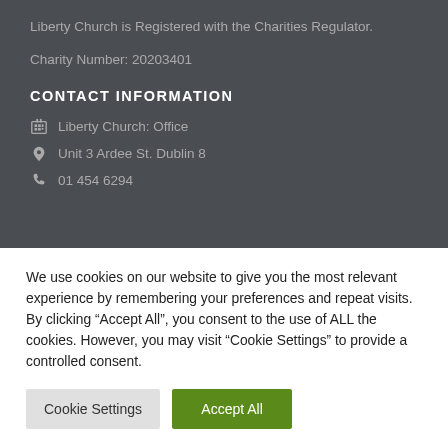Liberty Church is Registered with the Charities Regulator.
Charity Number: 20203401
CONTACT INFORMATION
Liberty Church: Office
Unit 3 Ardee St. Dublin 8
01 454 6294
We use cookies on our website to give you the most relevant experience by remembering your preferences and repeat visits. By clicking “Accept All”, you consent to the use of ALL the cookies. However, you may visit "Cookie Settings" to provide a controlled consent.
Cookie Settings | Accept All